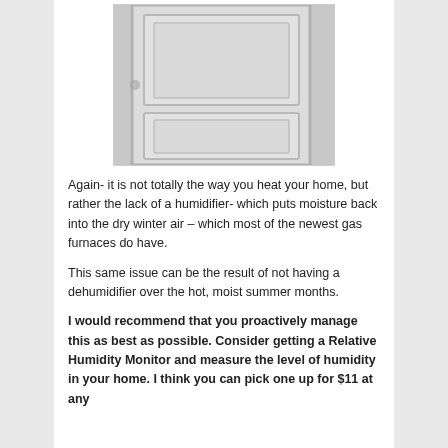[Figure (photo): Photo of a white interior door with recessed panel molding, shown from slightly below and to the side.]
Again- it is not totally the way you heat your home, but rather the lack of a humidifier- which puts moisture back into the dry winter air – which most of the newest gas furnaces do have.
This same issue can be the result of not having a dehumidifier over the hot, moist summer months.
I would recommend that you proactively manage this as best as possible. Consider getting a Relative Humidity Monitor and measure the level of humidity in your home. I think you can pick one up for $11 at any